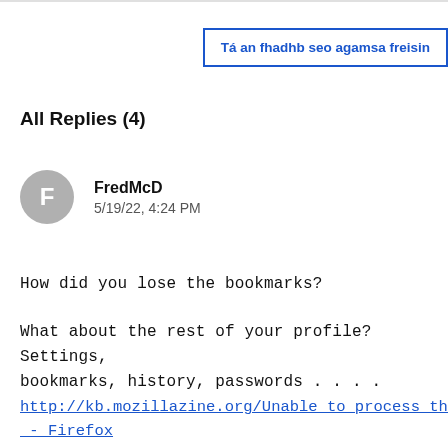[Figure (other): Blue bordered button with Irish text: Tá an fhadhb seo agamsa freisin]
All Replies (4)
[Figure (other): User avatar circle with letter F, username FredMcD, date 5/19/22, 4:24 PM]
How did you lose the bookmarks?
What about the rest of your profile? Settings, bookmarks, history, passwords . . . .
http://kb.mozillazine.org/Unable_to_process_the_backup_f
_-_Firefox